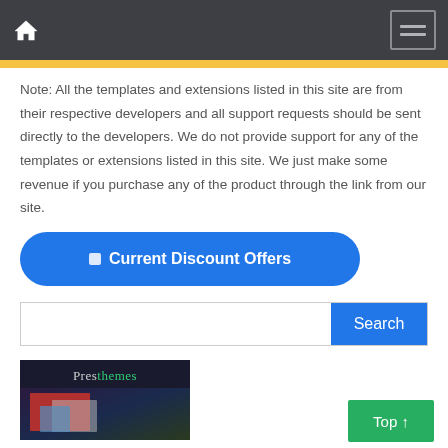Navigation bar with home icon and hamburger menu
Note: All the templates and extensions listed in this site are from their respective developers and all support requests should be sent directly to the developers. We do not provide support for any of the templates or extensions listed in this site. We just make some revenue if you purchase any of the product through the link from our site.
[Figure (other): Blue rounded button labeled 'Current Discount Offers']
[Figure (other): Search input field with blue Search button]
[Figure (screenshot): Presthemes logo and website screenshot thumbnail]
[Figure (other): Green 'Top ↑' button in bottom right corner]